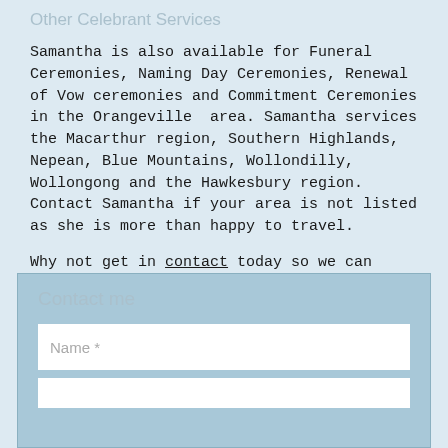Other Celebrant Services
Samantha is also available for Funeral Ceremonies, Naming Day Ceremonies, Renewal of Vow ceremonies and Commitment Ceremonies in the Orangeville  area. Samantha services the Macarthur region, Southern Highlands, Nepean, Blue Mountains, Wollondilly, Wollongong and the Hawkesbury region. Contact Samantha if your area is not listed as she is more than happy to travel.
Why not get in contact today so we can catch up for a coffee and a chat to discuss one of the most important days in your life!
Contact me
Name *